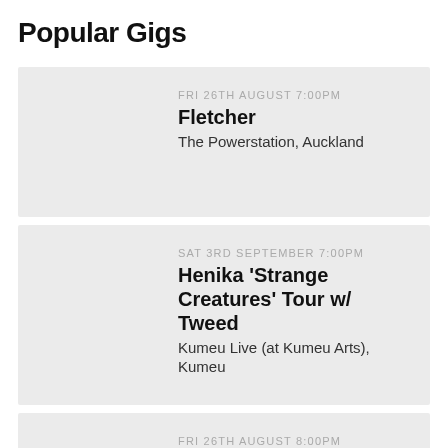Popular Gigs
FRI 26TH AUGUST 7:00PM
Fletcher
The Powerstation, Auckland
SAT 3RD SEPTEMBER 7:00PM
Henika 'Strange Creatures' Tour w/ Tweed
Kumeu Live (at Kumeu Arts), Kumeu
FRI 26TH AUGUST 8:00PM
The Super Heavy Tour
Whammy Bar, Auckland